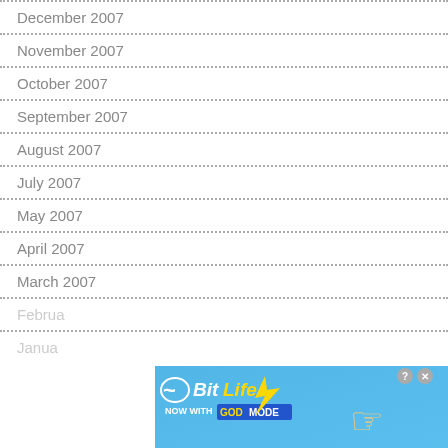December 2007
November 2007
October 2007
September 2007
August 2007
July 2007
May 2007
April 2007
March 2007
February 2007
January 2007
[Figure (other): BitLife advertisement overlay: 'BitLife - NOW WITH GOD MODE' with lightning bolt graphic and pointing hand, blue background with close and help buttons]